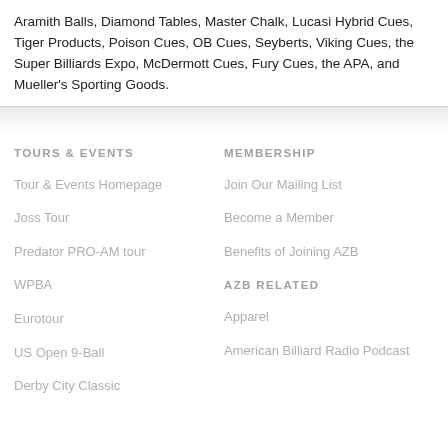Aramith Balls, Diamond Tables, Master Chalk, Lucasi Hybrid Cues, Tiger Products, Poison Cues, OB Cues, Seyberts, Viking Cues, the Super Billiards Expo, McDermott Cues, Fury Cues, the APA, and Mueller's Sporting Goods.
TOURS & EVENTS
MEMBERSHIP
Tour & Events Homepage
Join Our Mailing List
Joss Tour
Become a Member
Predator PRO-AM tour
Benefits of Joining AZB
WPBA
AZB RELATED
Eurotour
Apparel
US Open 9-Ball
American Billiard Radio Podcast
Derby City Classic